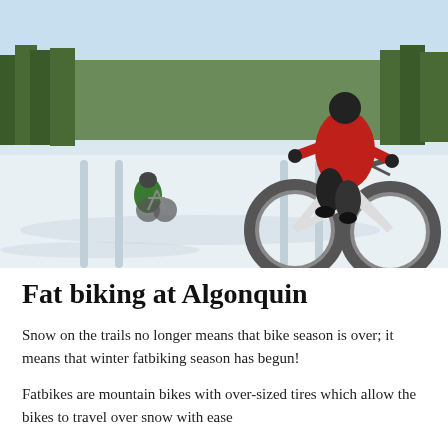[Figure (photo): Two fat bikers riding on a snow-covered trail in winter. The foreground rider wears a red jacket and dark pants on a white fat bike. A second rider in a green jacket is in the background. Snow-covered ground and pine trees in the background under a bright sky.]
Fat biking at Algonquin
Snow on the trails no longer means that bike season is over; it means that winter fatbiking season has begun!
Fatbikes are mountain bikes with over-sized tires which allow the bikes to travel over snow with ease